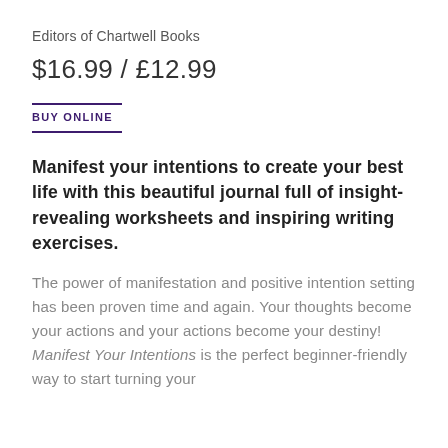Editors of Chartwell Books
$16.99 / £12.99
BUY ONLINE
Manifest your intentions to create your best life with this beautiful journal full of insight-revealing worksheets and inspiring writing exercises.
The power of manifestation and positive intention setting has been proven time and again. Your thoughts become your actions and your actions become your destiny! Manifest Your Intentions is the perfect beginner-friendly way to start turning your